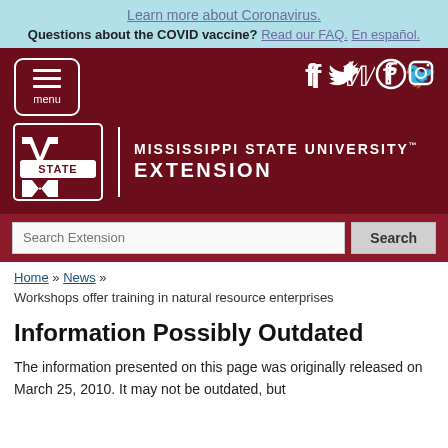Learn more about Coronavirus. Questions about the COVID vaccine? Read our FAQ. En español.
[Figure (screenshot): Mississippi State University Extension website header with maroon background, menu button, social media icons (Facebook, Twitter, Pinterest, Instagram), MSU State logo, and search bar]
Home » News »
Workshops offer training in natural resource enterprises
Information Possibly Outdated
The information presented on this page was originally released on March 25, 2010. It may not be outdated, but